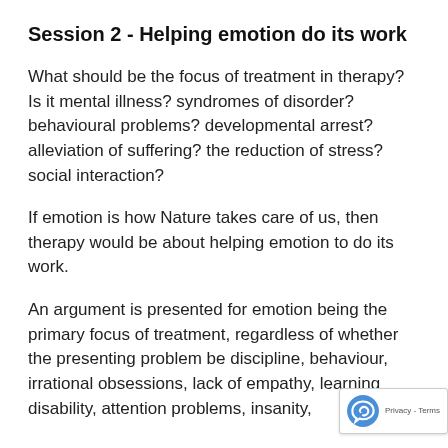Session 2 - Helping emotion do its work
What should be the focus of treatment in therapy? Is it mental illness? syndromes of disorder? behavioural problems? developmental arrest? alleviation of suffering? the reduction of stress? social interaction?
If emotion is how Nature takes care of us, then therapy would be about helping emotion to do its work.
An argument is presented for emotion being the primary focus of treatment, regardless of whether the presenting problem be discipline, behaviour, irrational obsessions, lack of empathy, learning disability, attention problems, insanity,